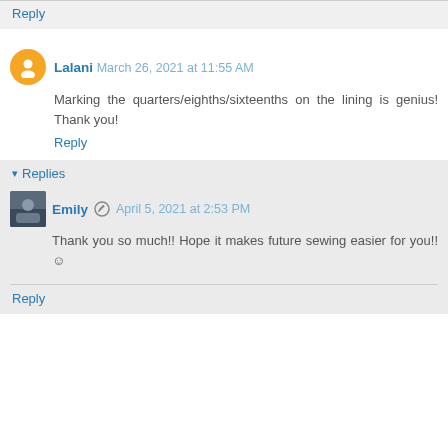Reply
Lalani  March 26, 2021 at 11:55 AM
Marking the quarters/eighths/sixteenths on the lining is genius! Thank you!
Reply
▾ Replies
Emily  April 5, 2021 at 2:53 PM
Thank you so much!! Hope it makes future sewing easier for you!!☺
Reply